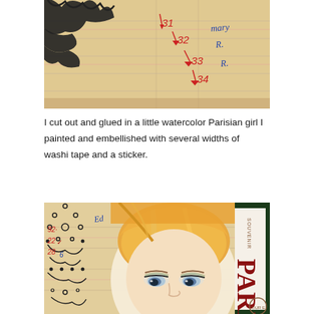[Figure (photo): Close-up photo of a handmade art journal page showing ledger paper with handwritten numbers (31, 32, 33, 34) in red ink with red arrows, blue handwriting showing names (Mary, R., etc.), and black decorative doodle/drawing at the top left corner.]
I cut out and glued in a little watercolor Parisian girl I painted and embellished with several widths of washi tape and a sticker.
[Figure (photo): Close-up photo of an art journal page featuring a watercolor painting of a Parisian girl with blonde/orange hair and striking eyes, placed on ledger paper with numbers and writing. On the right side is a red and white Paris souvenir sticker/tape. On the left is a decorative black lace-like pattern. Numbers visible include 92, 22, 28.]